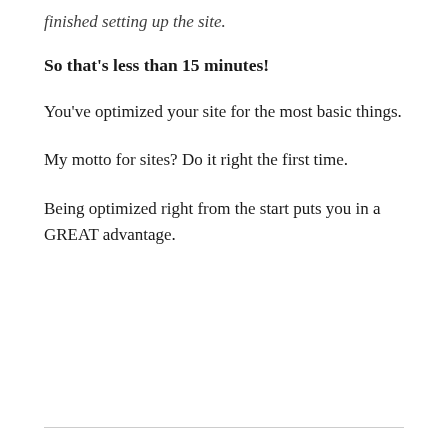finished setting up the site.
So that's less than 15 minutes!
You've optimized your site for the most basic things.
My motto for sites? Do it right the first time.
Being optimized right from the start puts you in a GREAT advantage.